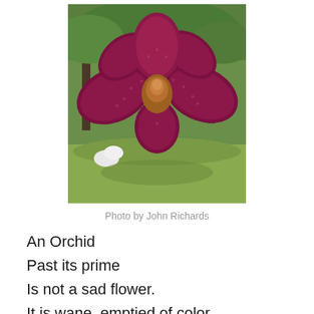[Figure (photo): Close-up photograph of a dark crimson/maroon orchid flower with textured petals, set against a background of green trees and garden path. Photo credit: John Richards.]
Photo by John Richards
An Orchid
Past its prime
Is not a sad flower.
It is wane, emptied of color
And without structural strength,
Yet something there, a juicy vagueness